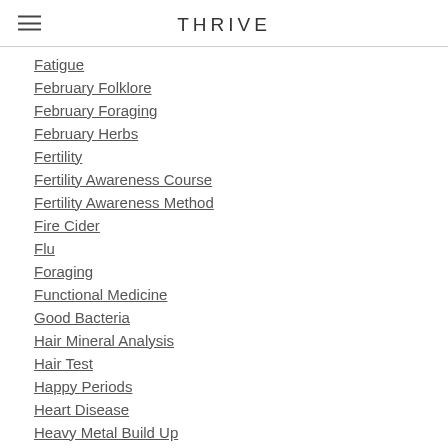THRIVE
Fatigue
February Folklore
February Foraging
February Herbs
Fertility
Fertility Awareness Course
Fertility Awareness Method
Fire Cider
Flu
Foraging
Functional Medicine
Good Bacteria
Hair Mineral Analysis
Hair Test
Happy Periods
Heart Disease
Heavy Metal Build Up